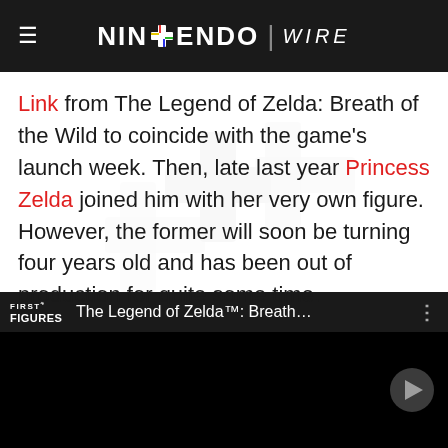NINTENDO WIRE
Link from The Legend of Zelda: Breath of the Wild to coincide with the game's launch week. Then, late last year Princess Zelda joined him with her very own figure. However, the former will soon be turning four years old and has been out of production for quite some time.
[Figure (screenshot): Embedded YouTube video thumbnail showing a First 4 Figures video titled 'The Legend of Zelda™: Breath...' with black background and a play button arrow on the right side.]